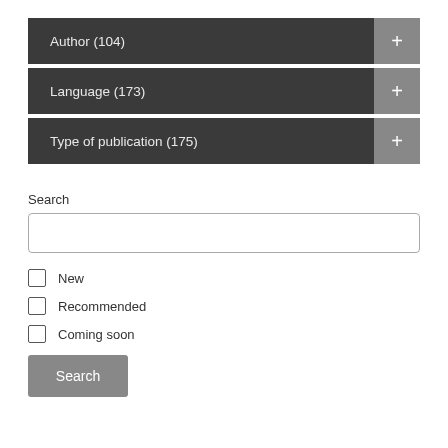Author (104)
Language (173)
Type of publication (175)
Search
New
Recommended
Coming soon
Search